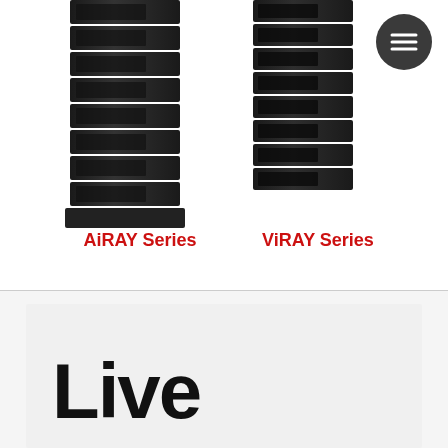[Figure (photo): Stack of black line array speaker cabinets (AiRAY Series) arranged vertically]
AiRAY Series
[Figure (photo): Stack of black line array speaker cabinets (ViRAY Series) arranged vertically]
ViRAY Series
[Figure (other): Dark circular menu/hamburger button icon in top right corner]
Live